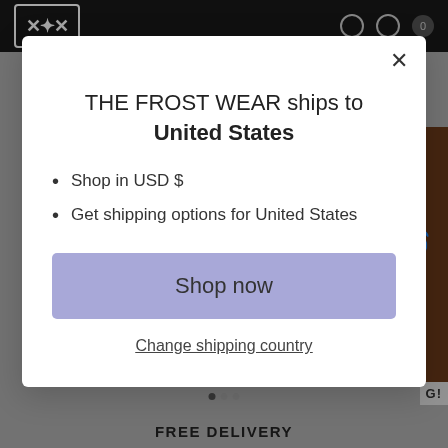[Figure (screenshot): E-commerce website modal popup overlaid on a dark navigation bar and product page background. The modal shows shipping destination information for THE FROST WEAR.]
THE FROST WEAR ships to United States
Shop in USD $
Get shipping options for United States
Shop now
Change shipping country
FREE DELIVERY